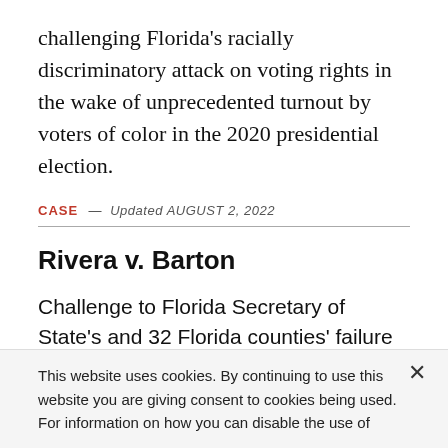challenging Florida's racially discriminatory attack on voting rights in the wake of unprecedented turnout by voters of color in the 2020 presidential election.
CASE — Updated AUGUST 2, 2022
Rivera v. Barton
Challenge to Florida Secretary of State's and 32 Florida counties' failure to to provide Spanish-
This website uses cookies. By continuing to use this website you are giving consent to cookies being used. For information on how you can disable the use of